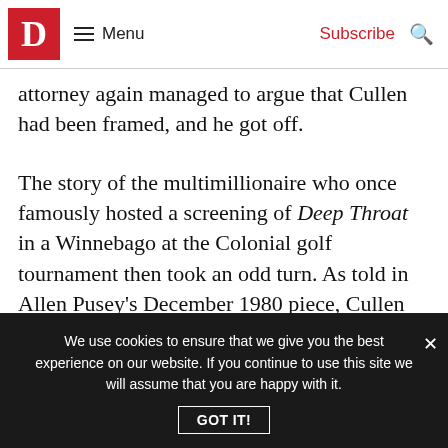D | Menu | Subscribe | [search icon]
attorney again managed to argue that Cullen had been framed, and he got off.
The story of the multimillionaire who once famously hosted a screening of Deep Throat in a Winnebago at the Colonial golf tournament then took an odd turn. As told in Allen Pusey’s December 1980 piece, Cullen became a devout evangelical Christian, under the influence of TV preacher James Robison. Though there were those who doubted the sincerity of
We use cookies to ensure that we give you the best experience on our website. If you continue to use this site we will assume that you are happy with it.
GOT IT!